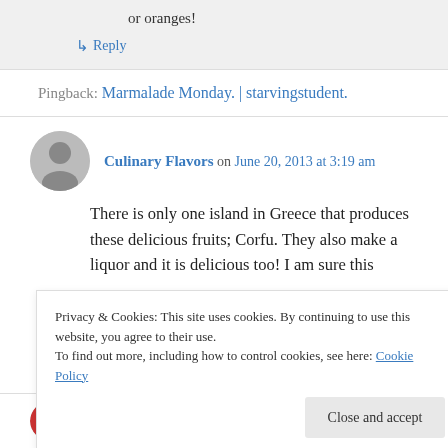or oranges!
↳ Reply
Pingback: Marmalade Monday. | starvingstudent.
Culinary Flavors on June 20, 2013 at 3:19 am
There is only one island in Greece that produces these delicious fruits; Corfu. They also make a liquor and it is delicious too! I am sure this
Privacy & Cookies: This site uses cookies. By continuing to use this website, you agree to their use.
To find out more, including how to control cookies, see here: Cookie Policy
Close and accept
Allison (Spontaneous Tomato) on June 28,